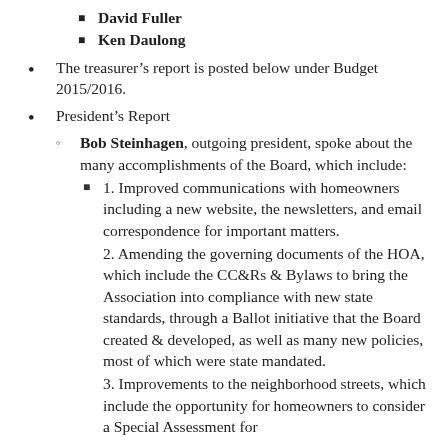David Fuller
Ken Daulong
The treasurer's report is posted below under Budget 2015/2016.
President's Report
Bob Steinhagen, outgoing president, spoke about the many accomplishments of the Board, which include:
1. Improved communications with homeowners including a new website, the newsletters, and email correspondence for important matters.
2. Amending the governing documents of the HOA, which include the CC&Rs & Bylaws to bring the Association into compliance with new state standards, through a Ballot initiative that the Board created & developed, as well as many new policies, most of which were state mandated.
3. Improvements to the neighborhood streets, which include the opportunity for homeowners to consider a Special Assessment for